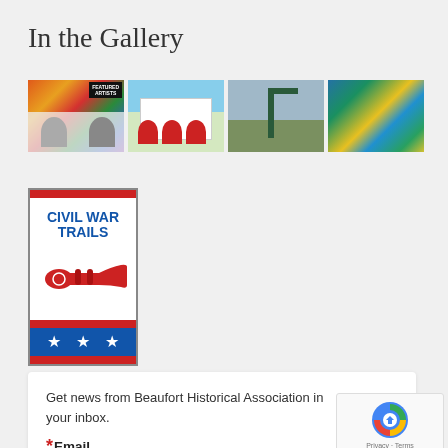In the Gallery
[Figure (photo): Four gallery thumbnail images in a horizontal strip: Featured Artists collage with two people portraits, outdoor restaurant with red umbrellas, a crane/boat on water, and a mosaic landscape painting.]
[Figure (logo): Civil War Trails logo with blue text 'CIVIL WAR TRAILS', a red bugle illustration, and a blue banner with three white stars, bordered by red stripes.]
Get news from Beaufort Historical Association in your inbox.
*Email